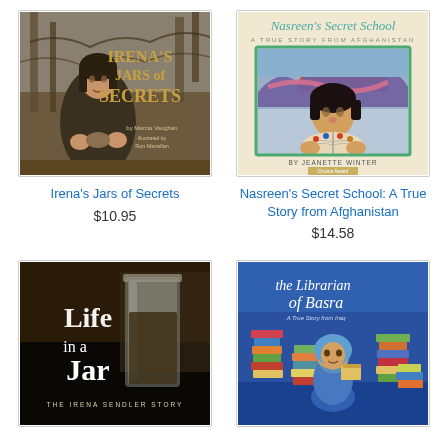[Figure (illustration): Book cover: Irena's Jars of Secrets - dark painterly illustration of a woman in a forest, text 'IRENA'S JARS of SECRETS' by Marcia Vaughan, illustrated by Ron Mazellan]
Irena's Jars of Secrets
$10.95
[Figure (illustration): Book cover: Nasreen's Secret School: A True Story from Afghanistan - illustrated cover showing a girl with dark hair reading a book, colorful illustration, by Jeanette Winter]
Nasreen's Secret School: A True Story from Afghanistan
$14.58
[Figure (illustration): Book cover: Life in a Jar - dark cover with glass jar image, text 'Life in a Jar', The Irena Sendler Story]
[Figure (illustration): Book cover: The Librarian of Basra - blue cover showing a woman in blue headscarf surrounded by stacks of books, text 'The Librarian of Basra: A True Story from Iraq']